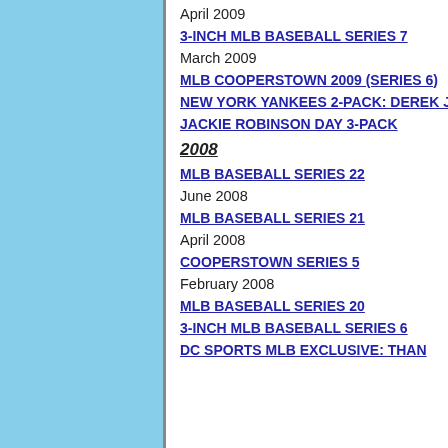April 2009
3-INCH MLB BASEBALL SERIES 7
March 2009
MLB COOPERSTOWN 2009 (SERIES 6)
NEW YORK YANKEES 2-PACK: DEREK JE...
JACKIE ROBINSON DAY 3-PACK
2008
MLB BASEBALL SERIES 22
June 2008
MLB BASEBALL SERIES 21
April 2008
COOPERSTOWN SERIES 5
February 2008
MLB BASEBALL SERIES 20
3-INCH MLB BASEBALL SERIES 6
DC SPORTS MLB EXCLUSIVE: THAT...